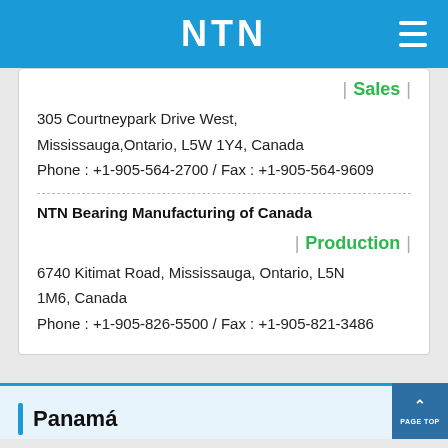NTN
Sales
305 Courtneypark Drive West, Mississauga,Ontario, L5W 1Y4, Canada
Phone : +1-905-564-2700 / Fax : +1-905-564-9609
NTN Bearing Manufacturing of Canada
Production
6740 Kitimat Road, Mississauga, Ontario, L5N 1M6, Canada
Phone : +1-905-826-5500 / Fax : +1-905-821-3486
Panamá